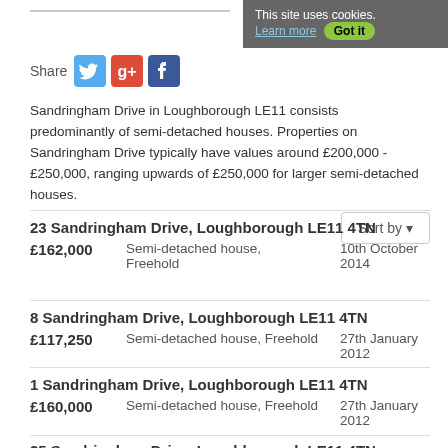[Figure (screenshot): Cookie banner: 'This site uses cookies. Learn more Got it']
[Figure (infographic): Share buttons: Twitter, Google+, Facebook icons]
Sandringham Drive in Loughborough LE11 consists predominantly of semi-detached houses. Properties on Sandringham Drive typically have values around £200,000 - £250,000, ranging upwards of £250,000 for larger semi-detached houses.
23 Sandringham Drive, Loughborough LE11 4TN
£162,000  Semi-detached house, Freehold  10th October 2014
8 Sandringham Drive, Loughborough LE11 4TN
£117,250  Semi-detached house, Freehold  27th January 2012
1 Sandringham Drive, Loughborough LE11 4TN
£160,000  Semi-detached house, Freehold  27th January 2012
25 Sandringham Drive, Loughborough LE11 4TN
9th September